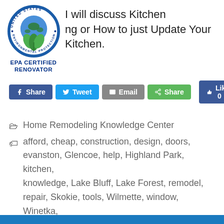[Figure (logo): EPA United States Environmental Protection Agency circular logo with blue globe and green leaves]
I will discuss Kitchen
ng or How to just Update Your Kitchen.
EPA CERTIFIED
RENOVATOR
[Figure (infographic): Social sharing buttons: Facebook Share, Twitter Tweet, Email, Share, Like 0]
Home Remodeling Knowledge Center
afford, cheap, construction, design, doors, evanston, Glencoe, help, Highland Park, kitchen, knowledge, Lake Bluff, Lake Forest, remodel, repair, Skokie, tools, Wilmette, window, Winetka, wood